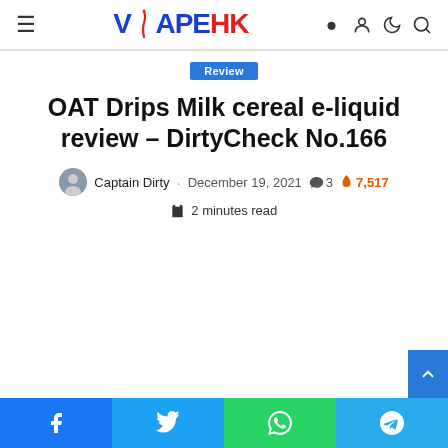VAPEHK
Review
OAT Drips Milk cereal e-liquid review – DirtyCheck No.166
Captain Dirty · December 19, 2021 · 3 comments · 7,517 views
2 minutes read